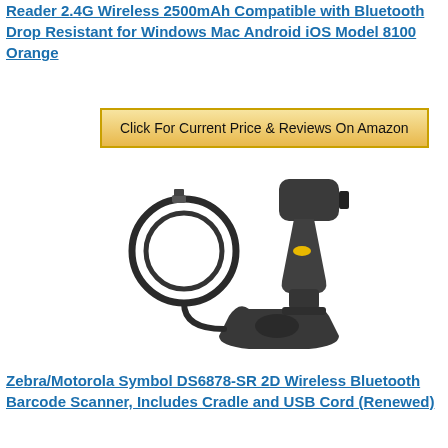Reader 2.4G Wireless 2500mAh Compatible with Bluetooth Drop Resistant for Windows Mac Android iOS Model 8100 Orange
Click For Current Price & Reviews On Amazon
[Figure (photo): Product photo of a wireless barcode scanner with USB cable and cradle stand. The scanner is black with a yellow trigger button, shown with a coiled black USB cable and a separate cradle/stand accessory.]
Zebra/Motorola Symbol DS6878-SR 2D Wireless Bluetooth Barcode Scanner, Includes Cradle and USB Cord (Renewed)